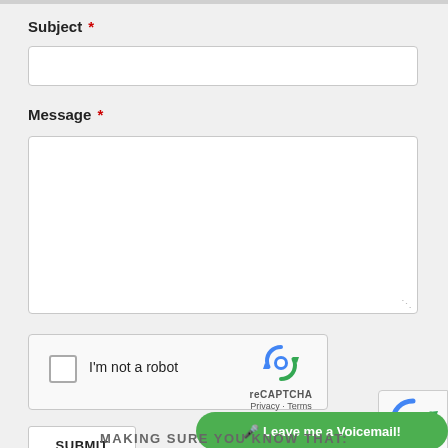Subject *
[Figure (screenshot): Empty subject text input field with white background and light border]
Message *
[Figure (screenshot): Empty message textarea input field with white background and light border and resize handle]
[Figure (screenshot): reCAPTCHA widget with checkbox 'I'm not a robot' and reCAPTCHA logo with Privacy and Terms links]
[Figure (screenshot): SUBMIT button]
[Figure (screenshot): Partial reCAPTCHA widget visible in bottom right corner]
[Figure (screenshot): Green voicemail button with microphone icon: 'Leave me a Voicemail!']
MAKING SURE YOU KNOW THAT: